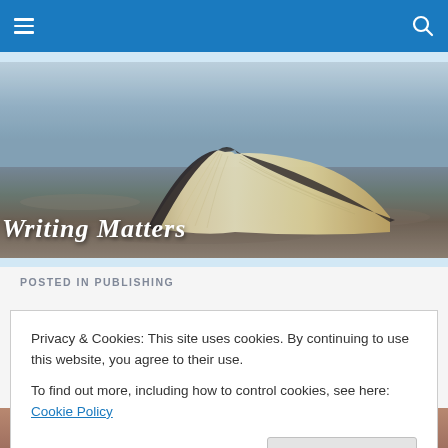Writing Matters — navigation bar with hamburger menu and search icon
[Figure (photo): Open book lying face-down on sand/gravel, viewed from the side showing fanned pages, with blurred background. Text overlay: Writing Matters in italic white script.]
Writing Matters
POSTED IN PUBLISHING
Privacy & Cookies: This site uses cookies. By continuing to use this website, you agree to their use.
To find out more, including how to control cookies, see here: Cookie Policy
Close and accept
[Figure (photo): Partial view of a photo at the bottom of the page, appears to show a person.]